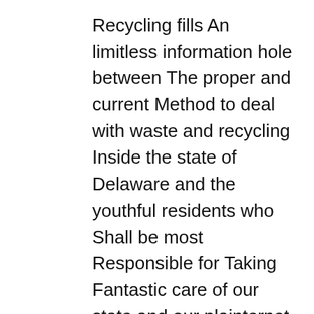Recycling fills An limitless information hole between The proper and current Method to deal with waste and recycling Inside the state of Delaware and the youthful residents who Shall be most Responsible for Taking Fantastic care of our state and our plainternet Finally," said Stacey Georgov, DSWA senior public education and outrevery coordinator. “It connects the dots for youthful people and is a continuation of our goals to foster A Strategy to environmental stewardship amongst scholars."
The learning contest, which ran from early February by way of Earth Day, April 22, was developed to incentivize teveryers and scholars To work together with The supplies. Educators might wln school provides and prizes For every